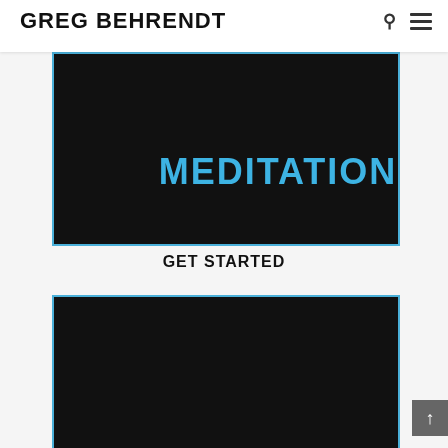Greg Behrendt
[Figure (screenshot): Black video thumbnail with blue border and the word MEDITATION in large bold blue text on a dark background]
GET STARTED
[Figure (screenshot): Black video thumbnail with blue border, dark background, no visible text]